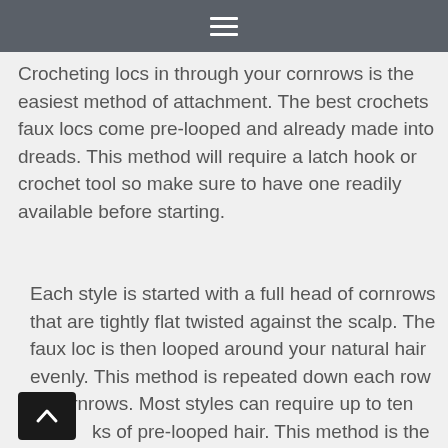☰
Crocheting locs in through your cornrows is the easiest method of attachment. The best crochets faux locs come pre-looped and already made into dreads. This method will require a latch hook or crochet tool so make sure to have one readily available before starting.
Each style is started with a full head of cornrows that are tightly flat twisted against the scalp. The faux loc is then looped around your natural hair evenly. This method is repeated down each row of cornrows. Most styles can require up to ten [packs] of pre-looped hair. This method is the easiest for beginners and produces wonderful